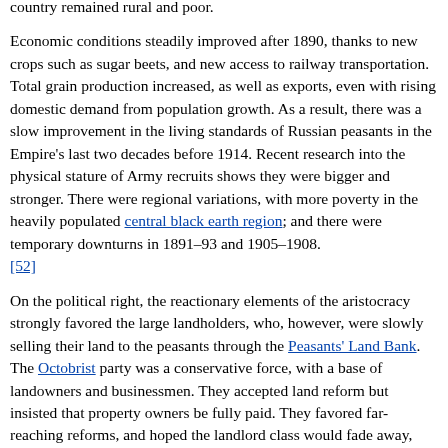country remained rural and poor.
Economic conditions steadily improved after 1890, thanks to new crops such as sugar beets, and new access to railway transportation. Total grain production increased, as well as exports, even with rising domestic demand from population growth. As a result, there was a slow improvement in the living standards of Russian peasants in the Empire's last two decades before 1914. Recent research into the physical stature of Army recruits shows they were bigger and stronger. There were regional variations, with more poverty in the heavily populated central black earth region; and there were temporary downturns in 1891–93 and 1905–1908.[52]
On the political right, the reactionary elements of the aristocracy strongly favored the large landholders, who, however, were slowly selling their land to the peasants through the Peasants' Land Bank. The Octobrist party was a conservative force, with a base of landowners and businessmen. They accepted land reform but insisted that property owners be fully paid. They favored far-reaching reforms, and hoped the landlord class would fade away, while agreeing they should be paid for their land. Liberal elements among industrial capitalists and nobility, who believed in peaceful social reform and a constitutional monarchy, formed the Constitutional Democratic Party or Kadets.[53]